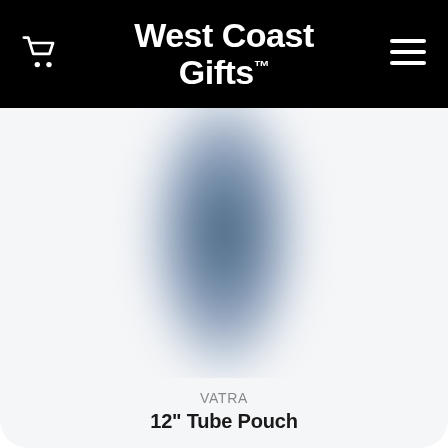West Coast Gifts™
[Figure (photo): Product image of a tube pouch shown against a light background with a soft blue-grey radial glow/shadow effect representing the product silhouette]
VATRA
12" Tube Pouch